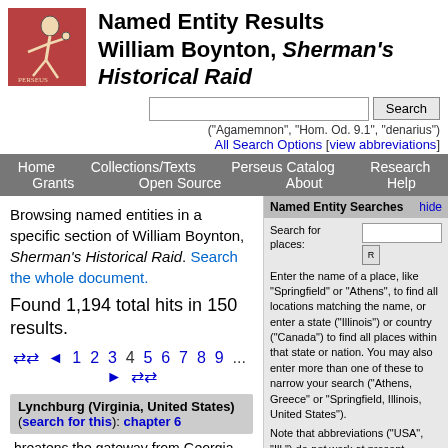Named Entity Results William Boynton, Sherman's Historical Raid
[Figure (logo): Perseus Digital Library logo: figure in red background]
("Agamemnon", "Hom. Od. 9.1", "denarius")
All Search Options [view abbreviations]
Home  Collections/Texts  Perseus Catalog  Research  Grants  Open Source  About  Help
Browsing named entities in a specific section of William Boynton, Sherman's Historical Raid. Search the whole document.
Found 1,194 total hits in 150 results.
◄◄ ◄ 1 2 3 4 5 6 7 8 9 ... ► ►►
Lynchburg (Virginia, United States) (search for this): chapter 6
hreatens the gateway from Georgia. Why is it that you make no report of your
Named Entity Searches
Search for places:
Enter the name of a place, like "Springfield" or "Athens", to find all locations matching the name, or enter a state ("Illinois") or country ("Canada") to find all places within that state or nation. You may also enter more than one of these to narrow your search ("Athens, Greece" or "Springfield, Illinois, United States").
Note that abbreviations ("USA", "Ill.") do not work at present--please stick to full names!